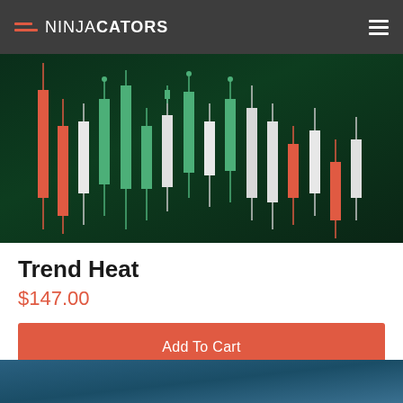NINJACATORS
[Figure (other): Candlestick chart showing green and red/white candlesticks on dark green background, representing financial trading data]
Trend Heat
$147.00
Add To Cart
[Figure (other): Blue-teal gradient image, bottom of page, partial view]